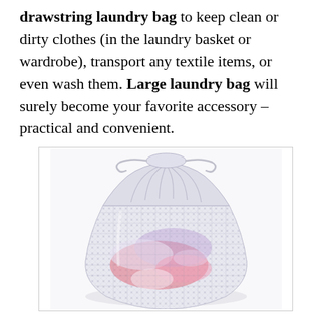drawstring laundry bag to keep clean or dirty clothes (in the laundry basket or wardrobe), transport any textile items, or even wash them. Large laundry bag will surely become your favorite accessory – practical and convenient.
[Figure (photo): A white mesh drawstring laundry bag filled with colorful clothes, visible through the mesh fabric, with a gathered drawstring top]